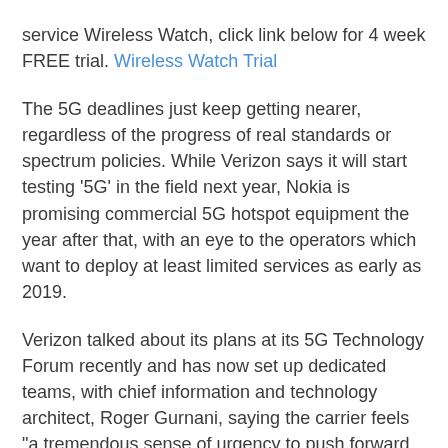service Wireless Watch, click link below for 4 week FREE trial. Wireless Watch Trial
The 5G deadlines just keep getting nearer, regardless of the progress of real standards or spectrum policies. While Verizon says it will start testing '5G' in the field next year, Nokia is promising commercial 5G hotspot equipment the year after that, with an eye to the operators which want to deploy at least limited services as early as 2019.
Verizon talked about its plans at its 5G Technology Forum recently and has now set up dedicated teams, with chief information and technology architect, Roger Gurnani, saying the carrier feels "a tremendous sense of urgency to push forward on 5G".
The carrier's need for a network which offers more capacity and also improved performance